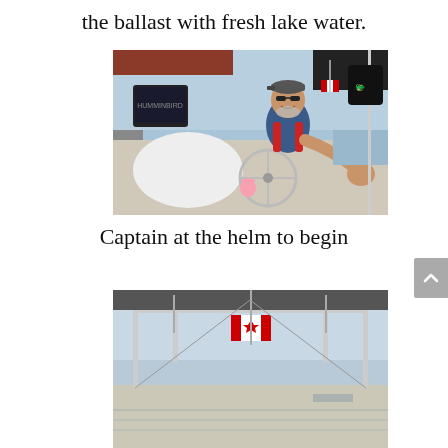the ballast with fresh lake water.
[Figure (photo): A man wearing a life vest and cap sitting at the helm of a sailboat, smiling at the camera. A small pink stuffed animal (Piglet) is attached to the steering wheel. Navigation equipment is visible on the left. Canadian flag and water visible in background.]
Captain at the helm to begin
[Figure (photo): A view of the back of a sailboat on the water. A Canadian flag is visible. The boat's T-bar arch and rigging are visible against a light sky.]